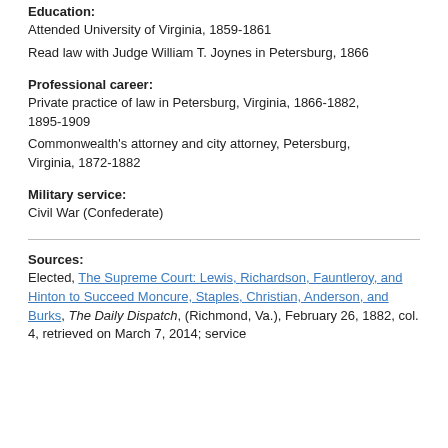Education:
Attended University of Virginia, 1859-1861
Read law with Judge William T. Joynes in Petersburg, 1866
Professional career:
Private practice of law in Petersburg, Virginia, 1866-1882, 1895-1909
Commonwealth's attorney and city attorney, Petersburg, Virginia, 1872-1882
Military service:
Civil War (Confederate)
Sources:
Elected, The Supreme Court: Lewis, Richardson, Fauntleroy, and Hinton to Succeed Moncure, Staples, Christian, Anderson, and Burks, The Daily Dispatch, (Richmond, Va.), February 26, 1882, col. 4, retrieved on March 7, 2014; service